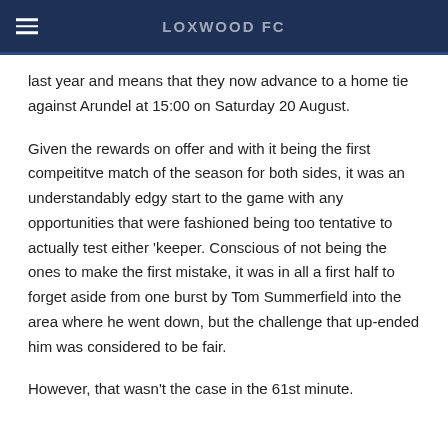LOXWOOD FC
last year and means that they now advance to a home tie against Arundel at 15:00 on Saturday 20 August.
Given the rewards on offer and with it being the first compeititve match of the season for both sides, it was an understandably edgy start to the game with any opportunities that were fashioned being too tentative to actually test either 'keeper. Conscious of not being the ones to make the first mistake, it was in all a first half to forget aside from one burst by Tom Summerfield into the area where he went down, but the challenge that up-ended him was considered to be fair.
However, that wasn't the case in the 61st minute.